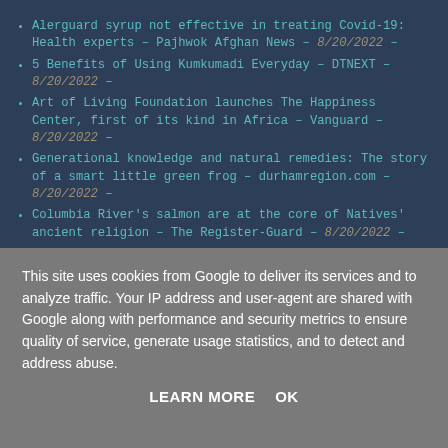Alerguard syrup not effective in treating Covid-19: Health experts – Pajhwok Afghan News – 8/20/2022 –
5 Benefits of Using Kumkumadi Everyday – DTNEXT – 8/20/2022 –
Art of Living Foundation launches The Happiness Center, first of its kind in Africa – Vanguard – 8/20/2022 –
Generational knowledge and natural remedies: The story of a smart little green frog – durhamregion.com – 8/20/2022 –
Columbia River's salmon are at the core of Natives' ancient religion – The Register-Guard – 8/20/2022 –
This site uses cookies from Google to deliver its services and to analyze traffic. Your IP address and user-agent are shared with Google along with performance and security metrics to ensure quality of service, generate usage statistics, and to detect and address abuse.
LEARN MORE   OK